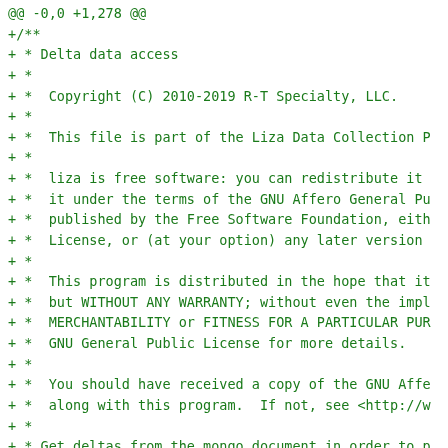@@ -0,0 +1,278 @@
+/**
+ * Delta data access
+ *
+ *  Copyright (C) 2010-2019 R-T Specialty, LLC.
+ *
+ *  This file is part of the Liza Data Collection P
+ *
+ *  liza is free software: you can redistribute it
+ *  it under the terms of the GNU Affero General Pu
+ *  published by the Free Software Foundation, eith
+ *  License, or (at your option) any later version
+ *
+ *  This program is distributed in the hope that it
+ *  but WITHOUT ANY WARRANTY; without even the impl
+ *  MERCHANTABILITY or FITNESS FOR A PARTICULAR PUR
+ *  GNU General Public License for more details.
+ *
+ *  You should have received a copy of the GNU Affe
+ *  along with this program.  If not, see <http://w
+ *
+ * Get deltas from the mongo document in order to p
+ */
+
+import { DocumentId } from '../../document/Document
+import { DeltaDao } from './DeltaDao';
+import { MongoCollection } from 'mongodb';
+import { context } from '../../error/ContextError'
+import { DaoError } from '../../error/DaoError';
+import { DeltaType, DeltaDocument } from '../../b